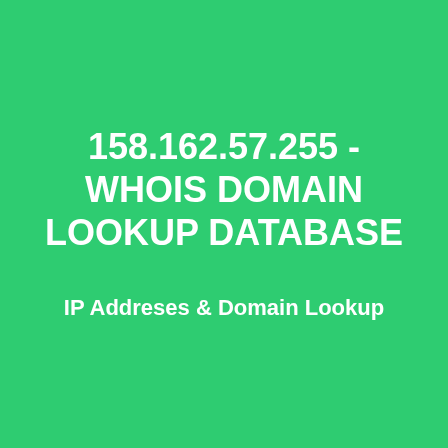158.162.57.255 - WHOIS DOMAIN LOOKUP DATABASE
IP Addreses & Domain Lookup